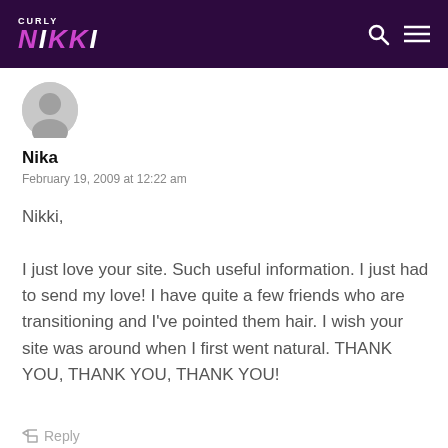Curly Nikki
[Figure (illustration): Circular grey avatar/profile picture placeholder]
Nika
February 19, 2009 at 12:22 am
Nikki,

I just love your site. Such useful information. I just had to send my love! I have quite a few friends who are transitioning and I've pointed them hair. I wish your site was around when I first went natural. THANK YOU, THANK YOU, THANK YOU!
Reply